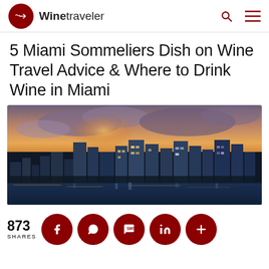Winetraveler
5 Miami Sommeliers Dish on Wine Travel Advice & Where to Drink Wine in Miami
[Figure (photo): Aerial view of Miami skyline at dusk/sunset with city lights and dramatic cloudy sky, water visible in the background]
873 SHARES